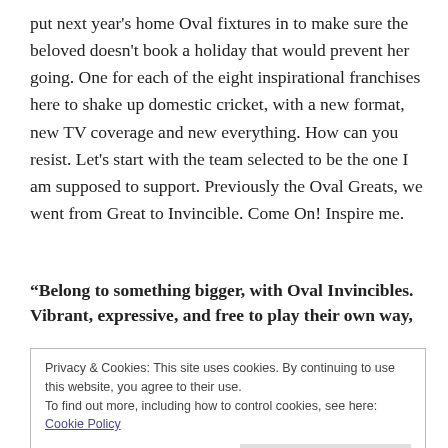put next year's home Oval fixtures in to make sure the beloved doesn't book a holiday that would prevent her going. One for each of the eight inspirational franchises here to shake up domestic cricket, with a new format, new TV coverage and new everything. How can you resist. Let's start with the team selected to be the one I am supposed to support. Previously the Oval Greats, we went from Great to Invincible. Come On! Inspire me.
“Belong to something bigger, with Oval Invincibles. Vibrant, expressive, and free to play their own way,
Privacy & Cookies: This site uses cookies. By continuing to use this website, you agree to their use.
To find out more, including how to control cookies, see here: Cookie Policy
Close and accept